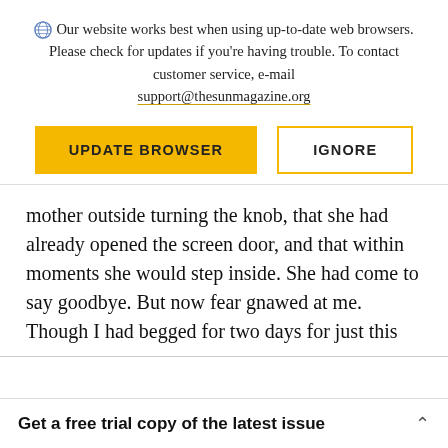Our website works best when using up-to-date web browsers. Please check for updates if you're having trouble. To contact customer service, e-mail support@thesunmagazine.org
[Figure (other): Two buttons: a yellow filled button labeled UPDATE BROWSER and a yellow-outlined button labeled IGNORE]
mother outside turning the knob, that she had already opened the screen door, and that within moments she would step inside. She had come to say goodbye. But now fear gnawed at me. Though I had begged for two days for just this
Get a free trial copy of the latest issue